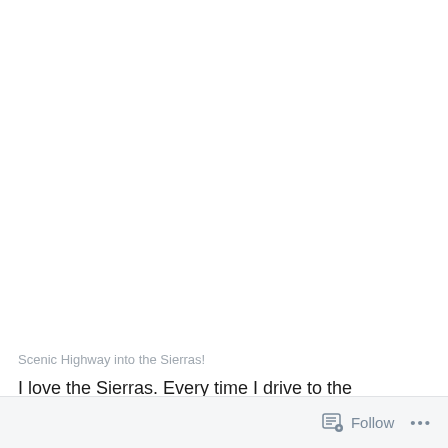[Figure (photo): Large white/blank area representing a scenic highway photo placeholder (Scenic Highway into the Sierras)]
Scenic Highway into the Sierras!
I love the Sierras. Every time I drive to the California coast
Follow  •••